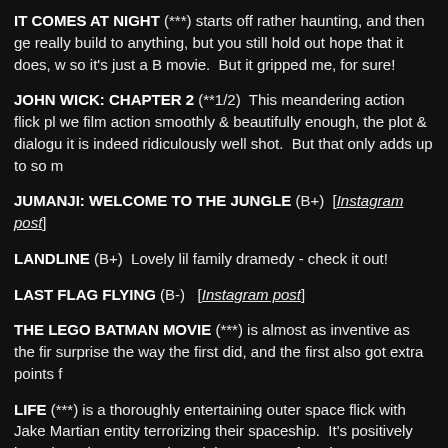IT COMES AT NIGHT (***) starts off rather haunting, and then ge really build to anything, but you still hold out hope that it does, so it's just a B movie.  But it gripped me, for sure!
JOHN WICK: CHAPTER 2 (**1/2)  This meandering action flick pl we film action smoothly & beautifully enough, the plot & dialogu it is indeed ridiculously well shot.  But that only adds up to so m
JUMANJI: WELCOME TO THE JUNGLE (B+)  [Instagram post]
LANDLINE (B+)  Lovely lil family dramedy - check it out!
LAST FLAG FLYING (B-)  [Instagram post]
THE LEGO BATMAN MOVIE (***) is almost as inventive as the fir surprise the way the first did, and the first also got extra points f
LIFE (***) is a thoroughly entertaining outer space flick with Jake Martian entity terrorizing their spaceship.  It's positively hauntin 6 character on board the spacecraft make SUCH terrible decision over.
LOGAN (***) is quite different than your typical superhero movi up for in class, it loses in dynamic plot.  I grow bored of watchi